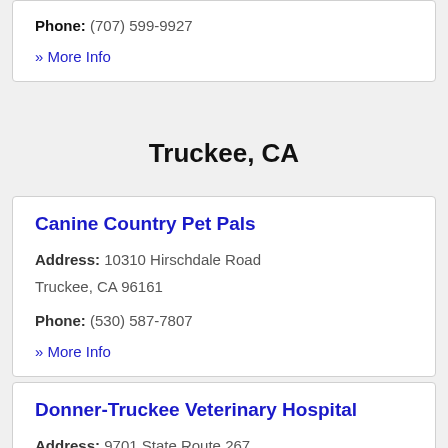Phone: (707) 599-9927
» More Info
Truckee, CA
Canine Country Pet Pals
Address: 10310 Hirschdale Road Truckee, CA 96161
Phone: (530) 587-7807
» More Info
Donner-Truckee Veterinary Hospital
Address: 9701 State Route 267